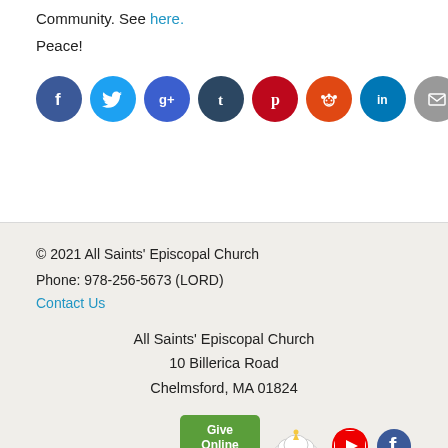Community. See here.
Peace!
[Figure (other): Row of social media share icons: Facebook, Twitter, Google+, Tumblr, Pinterest, Reddit, LinkedIn, Email]
© 2021 All Saints' Episcopal Church
Phone: 978-256-5673 (LORD)
Contact Us

All Saints' Episcopal Church
10 Billerica Road
Chelmsford, MA 01824